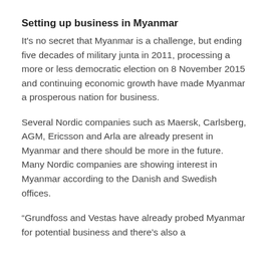Setting up business in Myanmar
It's no secret that Myanmar is a challenge, but ending five decades of military junta in 2011, processing a more or less democratic election on 8 November 2015 and continuing economic growth have made Myanmar a prosperous nation for business.
Several Nordic companies such as Maersk, Carlsberg, AGM, Ericsson and Arla are already present in Myanmar and there should be more in the future. Many Nordic companies are showing interest in Myanmar according to the Danish and Swedish offices.
“Grundfoss and Vestas have already probed Myanmar for potential business and there’s also a